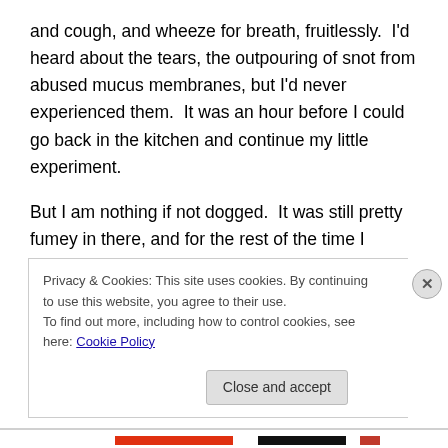and cough, and wheeze for breath, fruitlessly.  I'd heard about the tears, the outpouring of snot from abused mucus membranes, but I'd never experienced them.  It was an hour before I could go back in the kitchen and continue my little experiment.
But I am nothing if not dogged.  It was still pretty fumey in there, and for the rest of the time I worked with the sauce, I coughed and wheezed and hacked and went through a box of tissues.  But I learned that vinegar neutralizes capsaicin, and as soon as I got the vinegar, tomatoes, and
Privacy & Cookies: This site uses cookies. By continuing to use this website, you agree to their use.
To find out more, including how to control cookies, see here: Cookie Policy